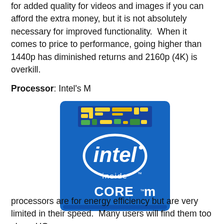for added quality for videos and images if you can afford the extra money, but it is not absolutely necessary for improved functionality.  When it comes to price to performance, going higher than 1440p has diminished returns and 2160p (4K) is overkill.
Processor: Intel's M
[Figure (logo): Intel Core M processor badge/logo — blue square badge with circuit board graphic on top, 'intel' in white oval, 'inside™' in white, 'CORE™ m' in white bold text]
processors are for energy efficiency but are very limited in their speed.  Many users will find them too slow.  HO